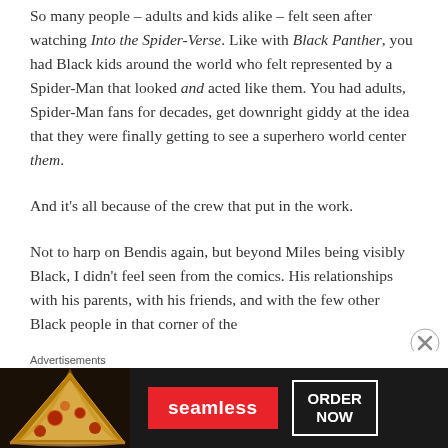So many people – adults and kids alike – felt seen after watching Into the Spider-Verse. Like with Black Panther, you had Black kids around the world who felt represented by a Spider-Man that looked and acted like them. You had adults, Spider-Man fans for decades, get downright giddy at the idea that they were finally getting to see a superhero world center them.
And it's all because of the crew that put in the work.
Not to harp on Bendis again, but beyond Miles being visibly Black, I didn't feel seen from the comics. His relationships with his parents, with his friends, and with the few other Black people in that corner of the
Advertisements
[Figure (screenshot): Seamless food delivery advertisement banner with pizza image on left, red Seamless logo button in center, and white 'ORDER NOW' button on right, all on dark background]